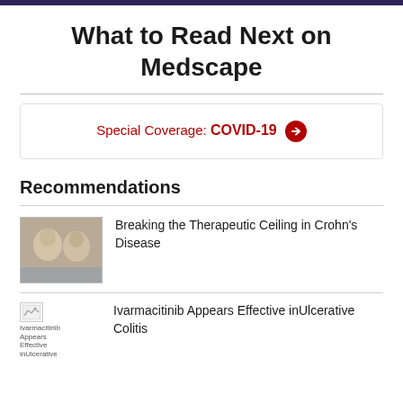What to Read Next on Medscape
Special Coverage: COVID-19 →
Recommendations
Breaking the Therapeutic Ceiling in Crohn's Disease
Ivarmacitinib Appears Effective inUlcerative Colitis